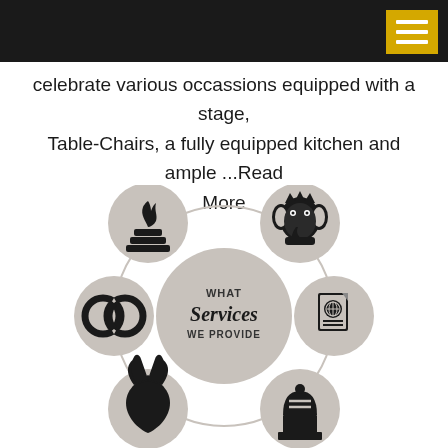celebrate various occassions equipped with a stage, Table-Chairs, a fully equipped kitchen and ample ...Read More
[Figure (infographic): Circular infographic showing 'WHAT Services WE PROVIDE' in the center, surrounded by 5 service icons in grey circles: havan/fire ritual (top left), Ganesha/elephant deity (top right), wedding rings (middle left), passport/travel document (middle right), praying hands (bottom left), and memorial/tombstone (bottom right). All connected by a large light grey circle outline.]